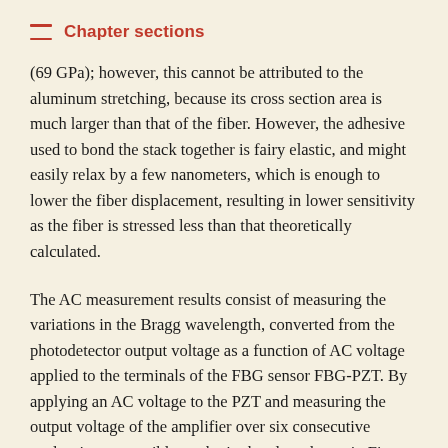Chapter sections
(69 GPa); however, this cannot be attributed to the aluminum stretching, because its cross section area is much larger than that of the fiber. However, the adhesive used to bond the stack together is fairy elastic, and might easily relax by a few nanometers, which is enough to lower the fiber displacement, resulting in lower sensitivity as the fiber is stressed less than that theoretically calculated.
The AC measurement results consist of measuring the variations in the Bragg wavelength, converted from the photodetector output voltage as a function of AC voltage applied to the terminals of the FBG sensor FBG-PZT. By applying an AC voltage to the PZT and measuring the output voltage of the amplifier over six consecutive cycles, it was possible to obtain the plots shown in Figure 17. The sensor...